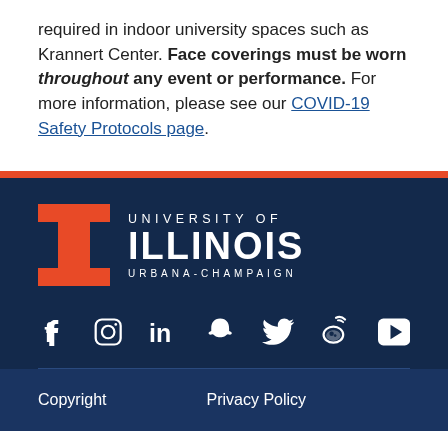required in indoor university spaces such as Krannert Center. Face coverings must be worn throughout any event or performance. For more information, please see our COVID-19 Safety Protocols page.
[Figure (logo): University of Illinois Urbana-Champaign logo with orange block I and white text on dark navy background]
[Figure (infographic): Social media icons row: Facebook, Instagram, LinkedIn, Snapchat, Twitter, Weibo, YouTube — white icons on dark navy background]
Copyright    Privacy Policy